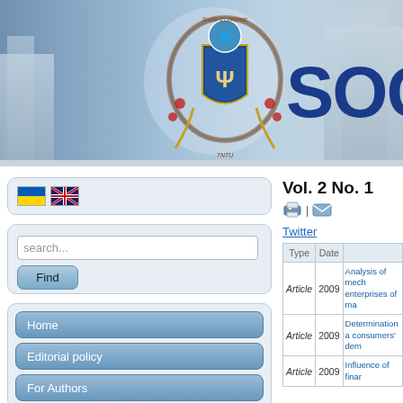[Figure (logo): Socio-Economic Problems and the State journal logo with coat of arms and TNTU emblem]
SOC
🇺🇦 🇬🇧 (language flags)
search...
Find
Home
Editorial policy
For Authors
Vol. 2 No. 1
Twitter
| Type | Date |  |
| --- | --- | --- |
| Article | 2009 | Analysis of mech... enterprises of m... |
| Article | 2009 | Determination a... consumers' dem... |
| Article | 2009 | Influence of finar... |